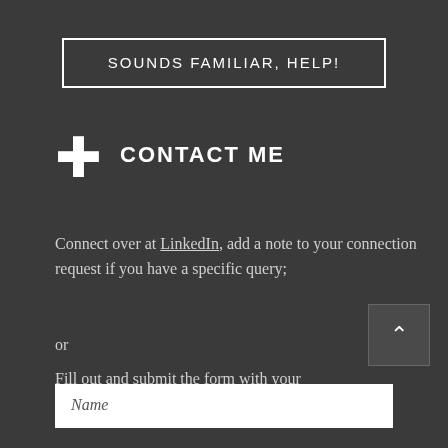SOUNDS FAMILIAR, HELP!
CONTACT ME
Connect over at LinkedIn, add a note to your connection request if you have a specific query;
or
Fill out and submit the form with your details and I'll get back to you.
Name